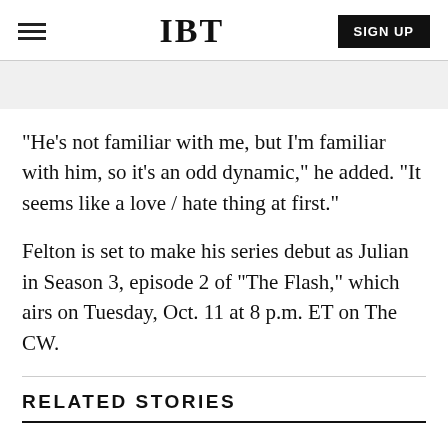IBT | SIGN UP
“He’s not familiar with me, but I’m familiar with him, so it’s an odd dynamic,” he added. “It seems like a love / hate thing at first.”
Felton is set to make his series debut as Julian in Season 3, episode 2 of “The Flash,” which airs on Tuesday, Oct. 11 at 8 p.m. ET on The CW.
RELATED STORIES